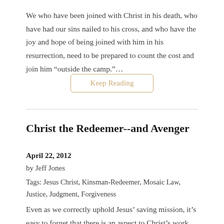We who have been joined with Christ in his death, who have had our sins nailed to his cross, and who have the joy and hope of being joined with him in his resurrection, need to be prepared to count the cost and join him “outside the camp.”…
Keep Reading
Christ the Redeemer--and Avenger
April 22, 2012
by Jeff Jones
Tags: Jesus Christ, Kinsman-Redeemer, Mosaic Law, Justice, Judgment, Forgiveness
Even as we correctly uphold Jesus’ saving mission, it’s easy to forget that there is an aspect to Christ’s work that, for many, is less